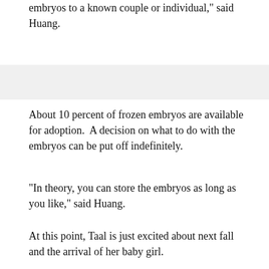embryos to a known couple or individual," said Huang.
About 10 percent of frozen embryos are available for adoption.  A decision on what to do with the embryos can be put off indefinitely.
"In theory, you can store the embryos as long as you like," said Huang.
At this point, Taal is just excited about next fall and the arrival of her baby girl.
"The whole process is so personal and so invasive to begin with I don't know if you necessarily think about that next step," she said.